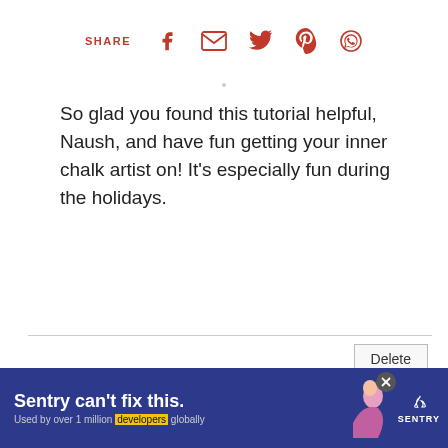[Figure (infographic): Social share bar with SHARE label and icons for Facebook, email, Twitter, Pinterest, WhatsApp in red/crimson color]
So glad you found this tutorial helpful, Naush, and have fun getting your inner chalk artist on! It's especially fun during the holidays.
Delete
Junkchiccottage
October 25, 2020 at 10:14:00 AM MDT
Super cute Marie.
[Figure (infographic): What's Next widget showing Chalkboard Menu with... text and a thumbnail image]
[Figure (infographic): Sentry advertisement banner: Sentry can't fix this. Used by over 1 million developers globally]